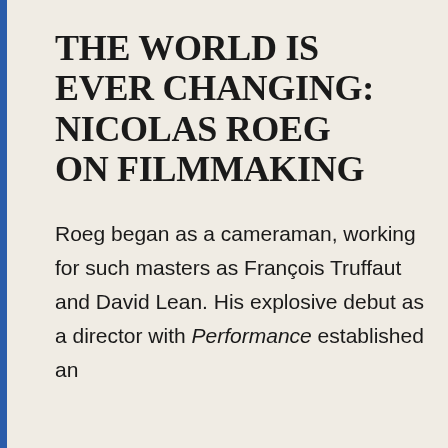THE WORLD IS EVER CHANGING: NICOLAS ROEG ON FILMMAKING
Roeg began as a cameraman, working for such masters as François Truffaut and David Lean. His explosive debut as a director with Performance established an